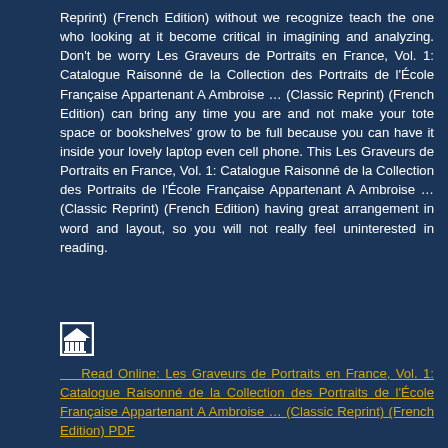Reprint) (French Edition) without we recognize teach the one who looking at it become critical in imagining and analyzing. Don't be worry Les Graveurs de Portraits en France, Vol. 1: Catalogue Raisonné de la Collection des Portraits de l'École Française Appartenant A Ambroise … (Classic Reprint) (French Edition) can bring any time you are and not make your tote space or bookshelves' grow to be full because you can have it inside your lovely laptop even cell phone. This Les Graveurs de Portraits en France, Vol. 1: Catalogue Raisonné de la Collection des Portraits de l'École Française Appartenant A Ambroise … (Classic Reprint) (French Edition) having great arrangement in word and layout, so you will not really feel uninterested in reading.
[Figure (logo): Small icon/logo of a book or building with columns, white border box]
Read Online: Les Graveurs de Portraits en France, Vol. 1: Catalogue Raisonné de la Collection des Portraits de l'École Française Appartenant A Ambroise … (Classic Reprint) (French Edition) PDF